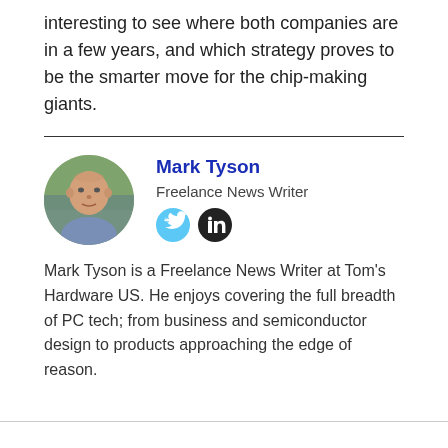interesting to see where both companies are in a few years, and which strategy proves to be the smarter move for the chip-making giants.
Mark Tyson
Freelance News Writer
Mark Tyson is a Freelance News Writer at Tom's Hardware US. He enjoys covering the full breadth of PC tech; from business and semiconductor design to products approaching the edge of reason.